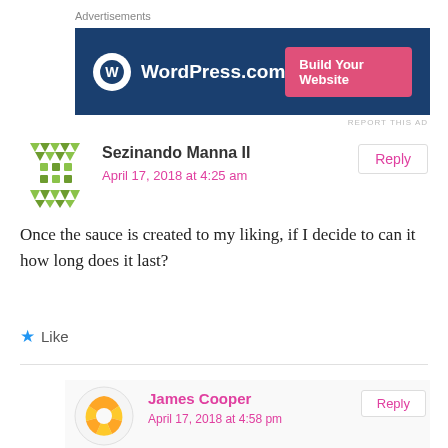Advertisements
[Figure (screenshot): WordPress.com advertisement banner with blue background, WordPress logo and 'Build Your Website' pink button]
REPORT THIS AD
Sezinando Manna II
April 17, 2018 at 4:25 am
Reply
Once the sauce is created to my liking, if I decide to can it how long does it last?
Like
James Cooper
April 17, 2018 at 4:58 pm
Reply
If you can the sauce in mason jars, it will last a couple of years. I go through all of mine during the winter.